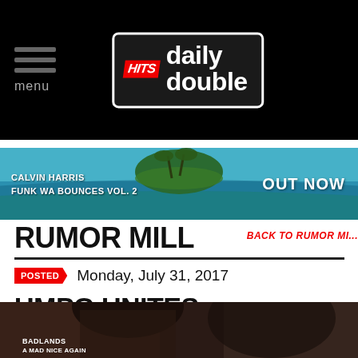HITS Daily Double - menu
[Figure (logo): HITS Daily Double logo — red HITS slant, white bold text on dark background with white border]
[Figure (photo): Calvin Harris Funk Wav Bounces Vol. 2 — OUT NOW advertisement banner with tropical island and ocean background]
RUMOR MILL
BACK TO RUMOR MI...
POSTED  Monday, July 31, 2017
UMPG UNITES SPRINGSTEEN CATALOG
[Figure (photo): Partial photo at bottom showing dark silhouette of person with text overlays including BADLANDS]